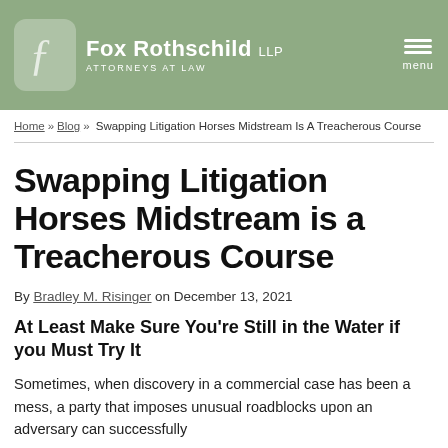[Figure (logo): Fox Rothschild LLP Attorneys At Law logo with stylized icon on green background, with hamburger menu icon labeled 'menu']
Home » Blog » Swapping Litigation Horses Midstream Is A Treacherous Course
Swapping Litigation Horses Midstream is a Treacherous Course
By Bradley M. Risinger on December 13, 2021
At Least Make Sure You're Still in the Water if you Must Try It
Sometimes, when discovery in a commercial case has been a mess, a party that imposes unusual roadblocks upon an adversary can successfully